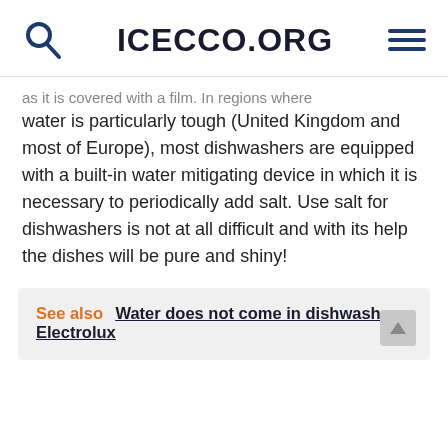ICECCO.ORG
as it is covered with a film. In regions where water is particularly tough (United Kingdom and most of Europe), most dishwashers are equipped with a built-in water mitigating device in which it is necessary to periodically add salt. Use salt for dishwashers is not at all difficult and with its help the dishes will be pure and shiny!
See also  Water does not come in dishwasher Electrolux